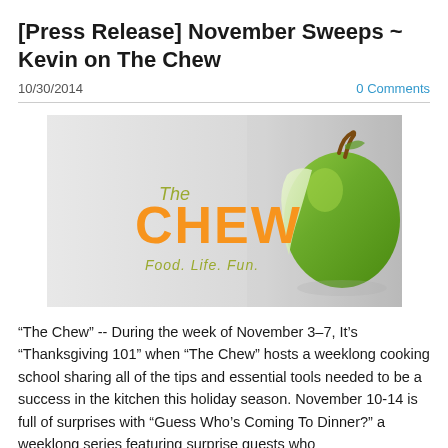[Press Release] November Sweeps ~ Kevin on The Chew
10/30/2014
0 Comments
[Figure (photo): The Chew TV show logo with orange 'CHEW' text, olive green 'The' and 'Food. Life. Fun.' tagline, with a bitten green apple on the right side against a light grey background.]
“The Chew” -- During the week of November 3–7, It’s “Thanksgiving 101” when “The Chew” hosts a weeklong cooking school sharing all of the tips and essential tools needed to be a success in the kitchen this holiday season. November 10-14 is full of surprises with “Guess Who’s Coming To Dinner?” a weeklong series featuring surprise guests who